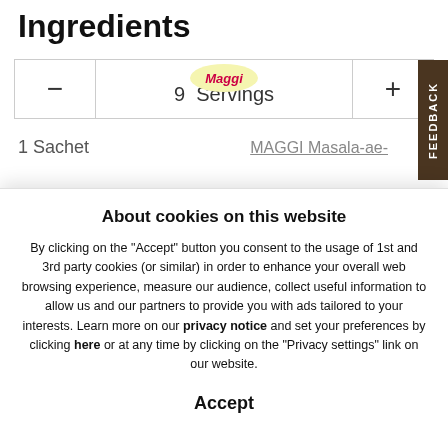Ingredients
| - | 9  Servings | + |
| --- | --- | --- |
1 Sachet   MAGGI Masala-ae-
About cookies on this website
By clicking on the "Accept" button you consent to the usage of 1st and 3rd party cookies (or similar) in order to enhance your overall web browsing experience, measure our audience, collect useful information to allow us and our partners to provide you with ads tailored to your interests. Learn more on our privacy notice and set your preferences by clicking here or at any time by clicking on the "Privacy settings" link on our website.
Accept